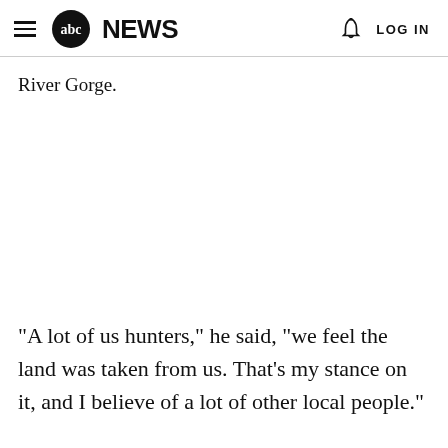abc NEWS  LOG IN
River Gorge.
"A lot of us hunters," he said, "we feel the land was taken from us. That's my stance on it, and I believe of a lot of other local people."